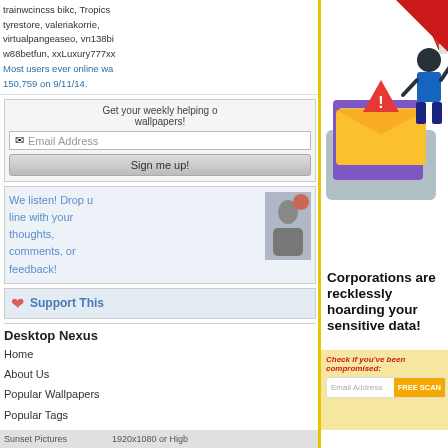trainwcincss bikc, Tropics tyrestore, valeriakorrie, virtualpangeaseo, vn138bi w88betfun, xxLuxury777xx
Most users ever online wa 150,759 on 9/11/14.
Get your weekly helping o wallpapers!
Email Address
Sign me up!
We listen! Drop u line with your thoughts, comments, or feedback!
Support This
Desktop Nexus
Home
About Us
Popular Wallpapers
Popular Tags
Community Stats
[Figure (illustration): Illustration showing a laptop with warning envelope and a hacker figure stealing data]
Corporations are recklessly hoarding your sensitive data!
When they get hacked, you’re at risk of identity theft or worse!
Check if you've been compromised:
Email Address
FREE SCAN
Sunset Pictures   1920x1080 or High